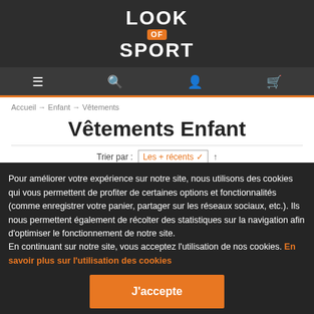[Figure (logo): Look OF Sport logo with orange badge for 'OF' on dark background]
[Figure (screenshot): Navigation bar with hamburger menu, search, user, and cart icons on dark background]
Accueil → Enfant → Vêtements
Vêtements Enfant
Trier par : Les + récents ↑
Page : 1  2  3  4  →
Pour améliorer votre expérience sur notre site, nous utilisons des cookies qui vous permettent de profiter de certaines options et fonctionnalités (comme enregistrer votre panier, partager sur les réseaux sociaux, etc.). Ils nous permettent également de récolter des statistiques sur la navigation afin d'optimiser le fonctionnement de notre site.
En continuant sur notre site, vous acceptez l'utilisation de nos cookies. En savoir plus sur l'utilisation des cookies
J'accepte